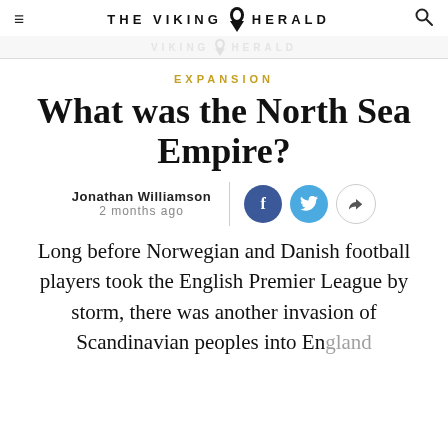THE VIKING HERALD
EXPANSION
What was the North Sea Empire?
Jonathan Williamson
2 months ago
Long before Norwegian and Danish football players took the English Premier League by storm, there was another invasion of Scandinavian peoples into England